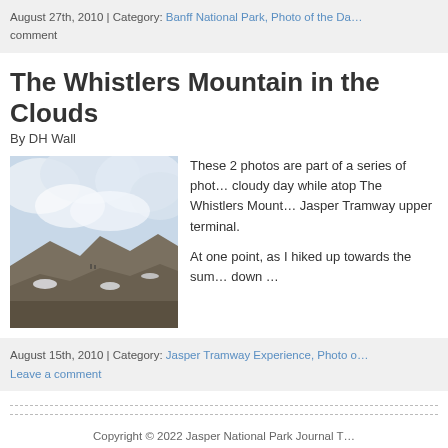August 27th, 2010 | Category: Banff National Park, Photo of the Da… comment
The Whistlers Mountain in the Clouds
By DH Wall
[Figure (photo): A mountain landscape on a cloudy day with rocky terrain, patches of snow, and dramatic clouds above The Whistlers Mountain near the Jasper Tramway upper terminal.]
These 2 photos are part of a series of photos taken on a cloudy day while atop The Whistlers Mountain near the Jasper Tramway upper terminal.

At one point, as I hiked up towards the sum… down …
August 15th, 2010 | Category: Jasper Tramway Experience, Photo o… Leave a comment
Copyright © 2022 Jasper National Park Journal T… Powered by WordPress & the Atahualp…